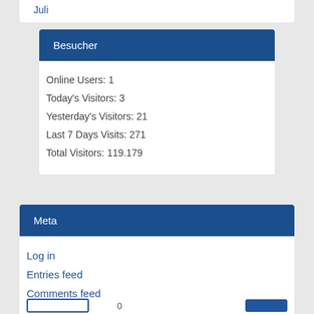Besucher
Online Users: 1
Today's Visitors: 3
Yesterday's Visitors: 21
Last 7 Days Visits: 271
Total Visitors: 119.179
Meta
Log in
Entries feed
Comments feed
WordPress.org